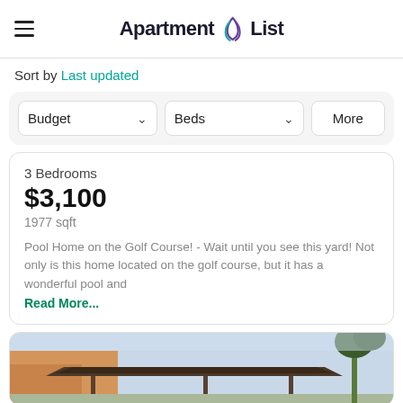Apartment List
Sort by Last updated
Budget  Beds  More
3 Bedrooms
$3,100
1977 sqft
Pool Home on the Golf Course! - Wait until you see this yard! Not only is this home located on the golf course, but it has a wonderful pool and Read More...
[Figure (photo): Exterior photo of a property showing a carport/gazebo structure with palm trees against a light sky]